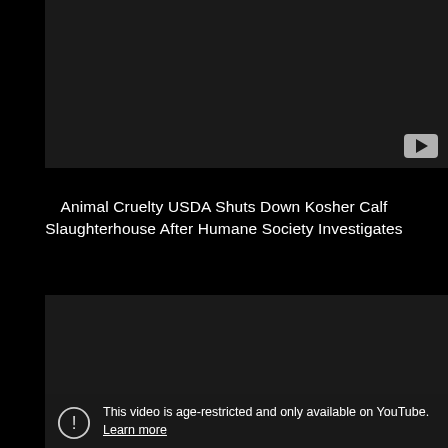[Figure (screenshot): Dark/black YouTube video thumbnail placeholder — first video, with YouTube play button icon in bottom right corner]
Animal Cruelty USDA Shuts Down Kosher Calf Slaughterhouse After Humane Society Investigates
[Figure (screenshot): Dark/black YouTube video thumbnail placeholder — second video, age-restricted, with warning icon and text overlay at bottom]
This video is age-restricted and only available on YouTube. Learn more